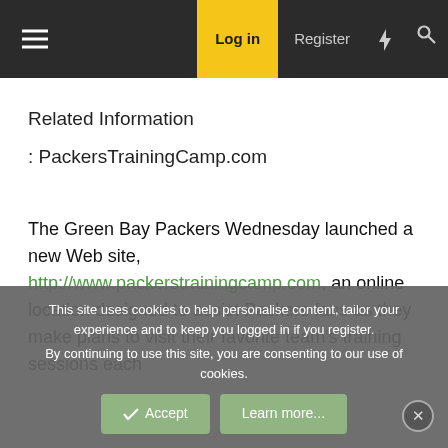Log in  Register
Related Information
: PackersTrainingCamp.com
The Green Bay Packers Wednesday launched a new Web site, http://www.packerstrainingcamp.com, an online location designed to assist Packers fans as they make plans to visit their favorite team's training sessions each
This site uses cookies to help personalise content, tailor your experience and to keep you logged in if you register.
By continuing to use this site, you are consenting to our use of cookies.